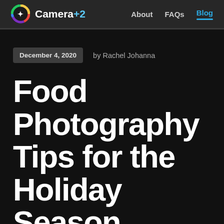Camera+2  About  FAQs  Blog
December 4, 2020  by Rachel Johanna
Food Photography Tips for the Holiday Season